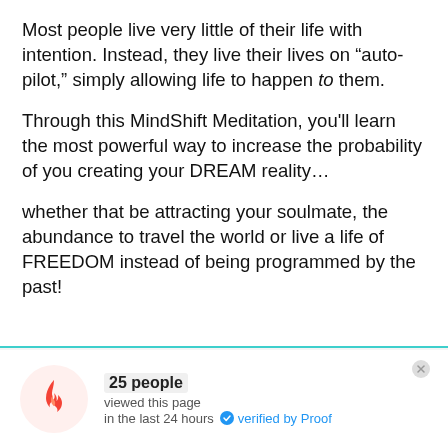Most people live very little of their life with intention. Instead, they live their lives on “auto-pilot,” simply allowing life to happen to them.
Through this MindShift Meditation, you’ll learn the most powerful way to increase the probability of you creating your DREAM reality…
whether that be attracting your soulmate, the abundance to travel the world or live a life of FREEDOM instead of being programmed by the past!
25 people viewed this page in the last 24 hours ✓ verified by Proof